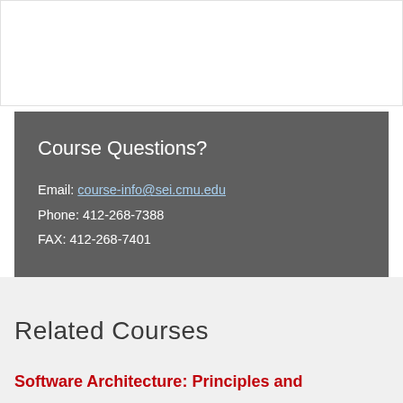Course Questions?
Email: course-info@sei.cmu.edu
Phone: 412-268-7388
FAX: 412-268-7401
Related Courses
Software Architecture: Principles and